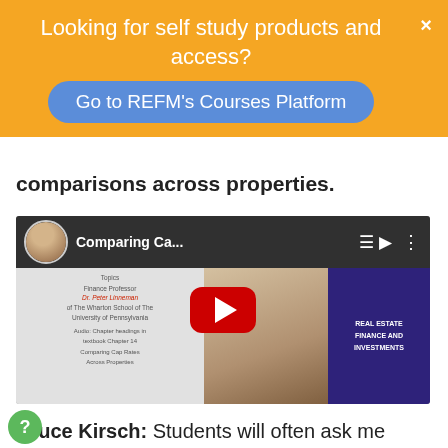Looking for self study products and access?
Go to REFM's Courses Platform
comparisons across properties.
[Figure (screenshot): YouTube video thumbnail titled 'Comparing Ca...' with a man in a suit and a book cover for 'Real Estate Finance and Investments']
Bruce Kirsch: Students will often ask me about cap rates. What has a higher cap rate, retail or apartments? For instance, if we have a mixed use project